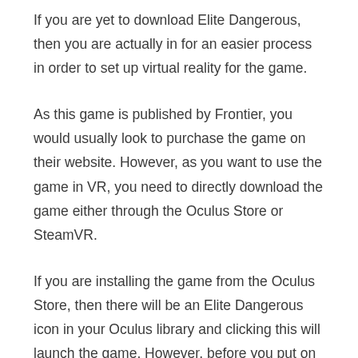If you are yet to download Elite Dangerous, then you are actually in for an easier process in order to set up virtual reality for the game.
As this game is published by Frontier, you would usually look to purchase the game on their website. However, as you want to use the game in VR, you need to directly download the game either through the Oculus Store or SteamVR.
If you are installing the game from the Oculus Store, then there will be an Elite Dangerous icon in your Oculus library and clicking this will launch the game. However, before you put on your headset, you need to make sure you have created a Frontier account.